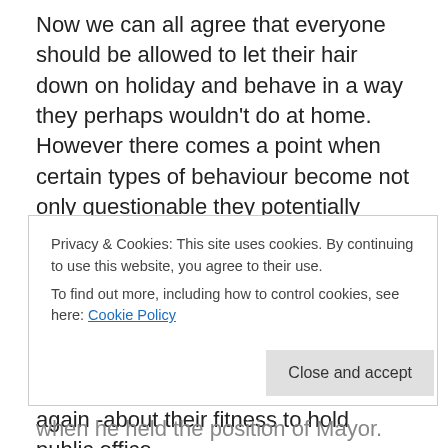Now we can all agree that everyone should be allowed to let their hair down on holiday and behave in a way they perhaps wouldn't do at home. However there comes a point when certain types of behaviour become not only questionable they potentially cross the line into criminality. What's more when there are people involved who condone such behaviour and they either once held or still do hold prestigious public positions we think it is legitimate to ask questions – yet again -about their fitness to hold public office.
As our previous introductory post suggested we have
Privacy & Cookies: This site uses cookies. By continuing to use this website, you agree to their use.
To find out more, including how to control cookies, see here: Cookie Policy
when he held the position of Mayor. As you know the latter